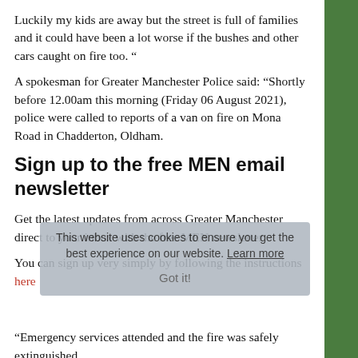Luckily my kids are away but the street is full of families and it could have been a lot worse if the bushes and other cars caught on fire too. “
A spokesman for Greater Manchester Police said: “Shortly before 12.00am this morning (Friday 06 August 2021), police were called to reports of a van on fire on Mona Road in Chadderton, Oldham.
Sign up to the free MEN email newsletter
Get the latest updates from across Greater Manchester direct to your inbox with the free MEN newsletter
You can sign up very simply by following the instructions here
“Emergency services attended and the fire was safely extinguished.
“Officers are treating the fire as arson. Enquiries are ongoing and no arrests have been made.